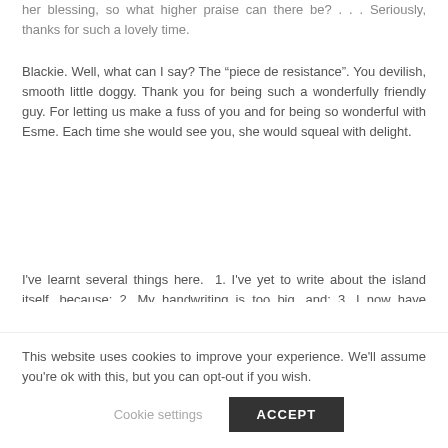her blessing, so what higher praise can there be? . . . Seriously, thanks for such a lovely time.
Blackie. Well, what can I say? The “piece de resistance". You devilish, smooth little doggy. Thank you for being such a wonderfully friendly guy. For letting us make a fuss of you and for being so wonderful with Esme. Each time she would see you, she would squeal with delight.
I've learnt several things here.  1. I've yet to write about the island itself, because; 2. My handwriting is too big, and; 3. I now have writer's cramp and my handwriting is
This website uses cookies to improve your experience. We'll assume you're ok with this, but you can opt-out if you wish.
Cookie settings
ACCEPT